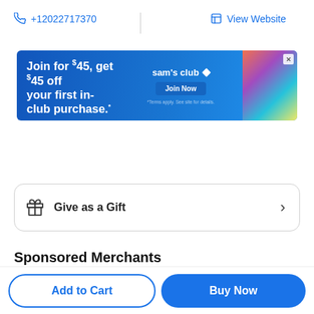+12022717370
View Website
[Figure (infographic): Sam's Club advertisement banner: 'Join for $45, get $45 off your first in-club purchase.' with a Join Now button and colorful image.]
Give as a Gift
Sponsored Merchants
Add to Cart
Buy Now